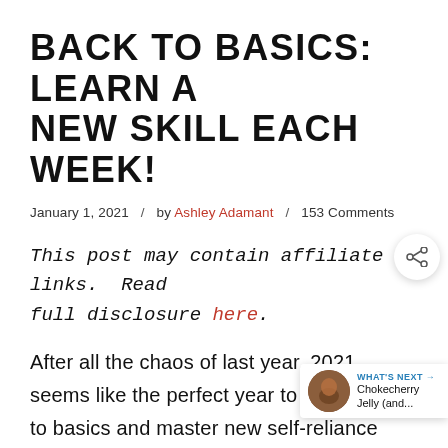BACK TO BASICS: LEARN A NEW SKILL EACH WEEK!
January 1, 2021 / by Ashley Adamant / 153 Comments
This post may contain affiliate links. Read full disclosure here.
After all the chaos of last year, 2021 seems like the perfect year to get back to basics and master new self-reliance skills. This year, I'm going to p[ost] new beginners guides each week, with